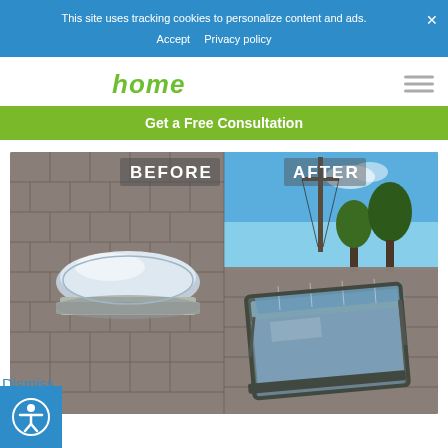This site uses tracking cookies to personalize content and ads.
Accept  Privacy policy
[Figure (logo): Website logo with cursive green text reading 'home']
Get a Free Consultation
[Figure (photo): Before and after comparison of skylight replacement on a shingled roof. Left side labeled 'BEFORE' shows an old dome-style skylight; right side labeled 'AFTER' shows a new flat glass skylight open at an angle.]
Dismiss